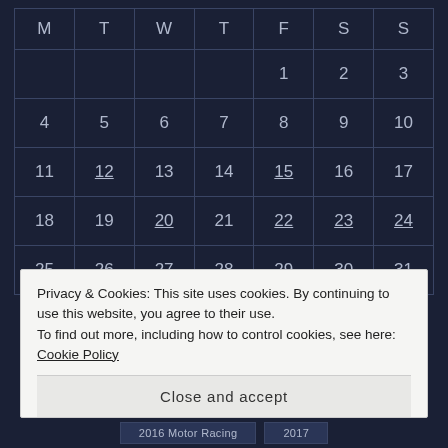| M | T | W | T | F | S | S |
| --- | --- | --- | --- | --- | --- | --- |
|  |  |  |  | 1 | 2 | 3 |
| 4 | 5 | 6 | 7 | 8 | 9 | 10 |
| 11 | 12 | 13 | 14 | 15 | 16 | 17 |
| 18 | 19 | 20 | 21 | 22 | 23 | 24 |
| 25 | 26 | 27 | 28 | 29 | 30 | 31 |
« Apr   Jun »
Privacy & Cookies: This site uses cookies. By continuing to use this website, you agree to their use.
To find out more, including how to control cookies, see here: Cookie Policy
Close and accept